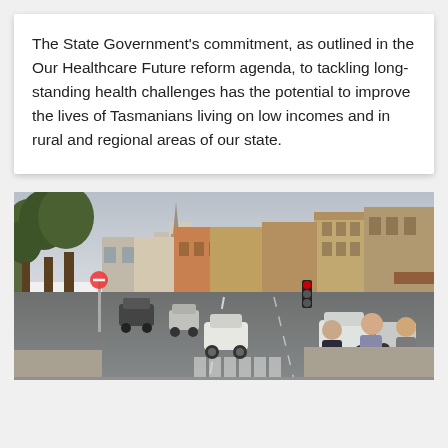The State Government's commitment, as outlined in the Our Healthcare Future reform agenda, to tackling long-standing health challenges has the potential to improve the lives of Tasmanians living on low incomes and in rural and regional areas of our state.
[Figure (photo): Street scene in a Tasmanian town showing a busy road with cars, pedestrians crossing, historic stone and brick buildings lining both sides of the street, trees on the left, and a church spire visible in the background under an overcast sky.]